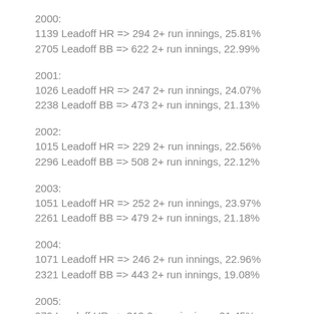2000:
1139 Leadoff HR => 294 2+ run innings, 25.81%
2705 Leadoff BB => 622 2+ run innings, 22.99%
2001:
1026 Leadoff HR => 247 2+ run innings, 24.07%
2238 Leadoff BB => 473 2+ run innings, 21.13%
2002:
1015 Leadoff HR => 229 2+ run innings, 22.56%
2296 Leadoff BB => 508 2+ run innings, 22.12%
2003:
1051 Leadoff HR => 252 2+ run innings, 23.97%
2261 Leadoff BB => 479 2+ run innings, 21.18%
2004:
1071 Leadoff HR => 246 2+ run innings, 22.96%
2321 Leadoff BB => 443 2+ run innings, 19.08%
2005:
979 Leadoff HR => 319 2+ run innings, 21.45%